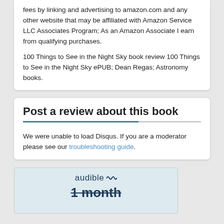fees by linking and advertising to amazon.com and any other website that may be affiliated with Amazon Service LLC Associates Program; As an Amazon Associate I earn from qualifying purchases.
100 Things to See in the Night Sky book review 100 Things to See in the Night Sky ePUB; Dean Regas; Astronomy books.
Post a review about this book
We were unable to load Disqus. If you are a moderator please see our troubleshooting guide.
[Figure (other): Audible advertisement banner showing the Audible logo and '1 month' text with strikethrough styling on a light blue background.]